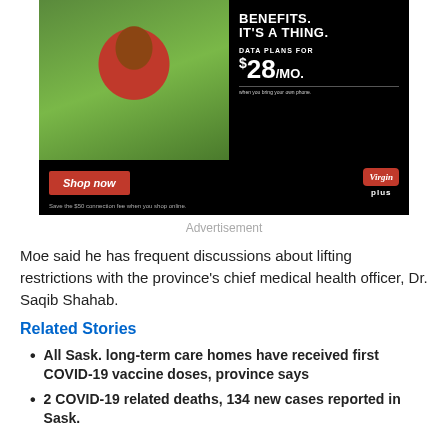[Figure (photo): Virgin Plus advertisement showing a woman in a red dress lying on grass holding a phone, with text 'BENEFITS. IT'S A THING. DATA PLANS FOR $28/MO.' and a red 'Shop now' button, and Virgin Plus logo.]
Advertisement
Moe said he has frequent discussions about lifting restrictions with the province's chief medical health officer, Dr. Saqib Shahab.
Related Stories
All Sask. long-term care homes have received first COVID-19 vaccine doses, province says
2 COVID-19 related deaths, 134 new cases reported in Sask.